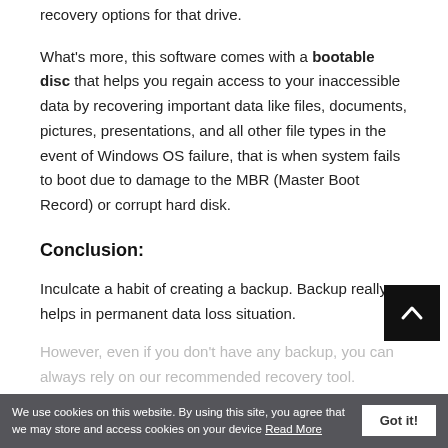recovery options for that drive.
What's more, this software comes with a bootable disc that helps you regain access to your inaccessible data by recovering important data like files, documents, pictures, presentations, and all other file types in the event of Windows OS failure, that is when system fails to boot due to damage to the MBR (Master Boot Record) or corrupt hard disk.
Conclusion:
Inculcate a habit of creating a backup. Backup really helps in permanent data loss situation.
However, even if you don't have any backup, you can always rely on our recommended recovery tool.
We use cookies on this website. By using this site, you agree that we may store and access cookies on your device Read More   Got it!